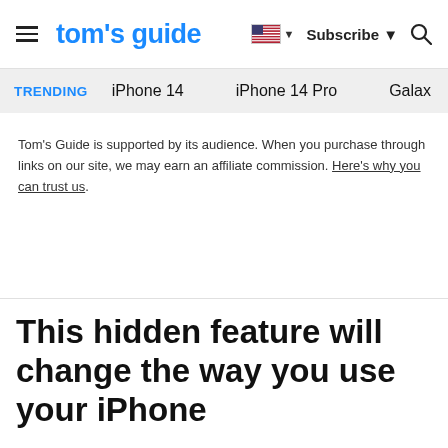tom's guide
TRENDING   iPhone 14   iPhone 14 Pro   Galaxy
Tom's Guide is supported by its audience. When you purchase through links on our site, we may earn an affiliate commission. Here's why you can trust us.
This hidden feature will change the way you use your iPhone